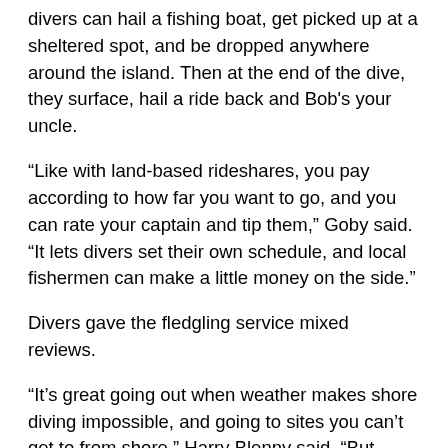divers can hail a fishing boat, get picked up at a sheltered spot, and be dropped anywhere around the island. Then at the end of the dive, they surface, hail a ride back and Bob's your uncle.
“Like with land-based rideshares, you pay according to how far you want to go, and you can rate your captain and tip them,” Goby said. “It lets divers set their own schedule, and local fishermen can make a little money on the side.”
Divers gave the fledgling service mixed reviews.
“It’s great going out when weather makes shore diving impossible, and going to sites you can’t get to from shore,” Harry Blenny said. “But getting back out can be an adventure, depending on how rough the seas are, how long you have to wait and what kind of boat picks you up.